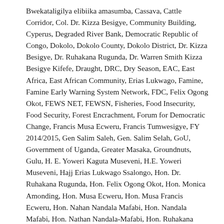Bwekataligilya elibiika amasumba, Cassava, Cattle Corridor, Col. Dr. Kizza Besigye, Community Building, Cyperus, Degraded River Bank, Democratic Republic of Congo, Dokolo, Dokolo County, Dokolo District, Dr. Kizza Besigye, Dr. Ruhakana Rugunda, Dr. Warren Smith Kizza Besigye Kifefe, Draught, DRC, Dry Season, EAC, East Africa, East African Community, Erias Lukwago, Famine, Famine Early Warning System Network, FDC, Felix Ogong Okot, FEWS NET, FEWSN, Fisheries, Food Insecurity, Food Security, Forest Encrachment, Forum for Democratic Change, Francis Musa Ecweru, Francis Tumwesigye, FY 2014/2015, Gen Salim Saleh, Gen. Salim Selah, GoU, Government of Uganda, Greater Masaka, Groundnuts, Gulu, H. E. Yoweri Kaguta Museveni, H.E. Yoweri Museveni, Hajj Erias Lukwago Ssalongo, Hon. Dr. Ruhakana Rugunda, Hon. Felix Ogong Okot, Hon. Monica Amonding, Hon. Musa Ecweru, Hon. Musa Francis Ecweru, Hon. Nahan Nandala Mafabi, Hon. Nandala Mafabi, Hon. Nathan Nandala-Mafabi, Hon. Ruhakana Rugunda, Hon. Silas Aogon, Hon. Vincent Bamulangaki Ssempijja, Hon. Wafula Oguttu, Insecurity,